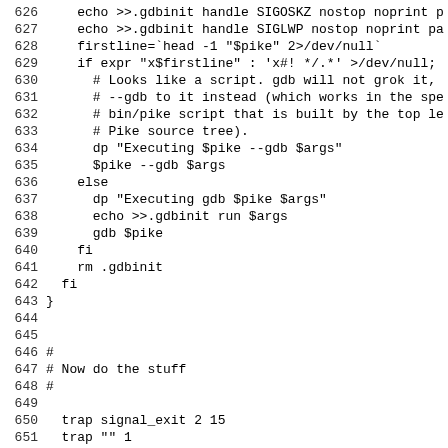626: echo >>.gdbinit handle SIGOSKZ nostop noprint p
627:     echo >>.gdbinit handle SIGLWP nostop noprint pa
628:     firstline=`head -1 "$pike" 2>/dev/null`
629:     if expr "x$firstline" : 'x#! */.*' >/dev/null;
630:       # Looks like a script. gdb will not grok it,
631:       # --gdb to it instead (which works in the spe
632:       # bin/pike script that is built by the top le
633:       # Pike source tree).
634:       dp "Executing $pike --gdb $args"
635:       $pike --gdb $args
636:     else
637:       dp "Executing gdb $pike $args"
638:       echo >>.gdbinit run $args
639:       gdb $pike
640:     fi
641:     rm .gdbinit
642:   fi
643: }
644: 
645: 
646: #
647: # Now do the stuff
648: #
649: 
650:   trap signal_exit 2 15
651:   trap "" 1
652: